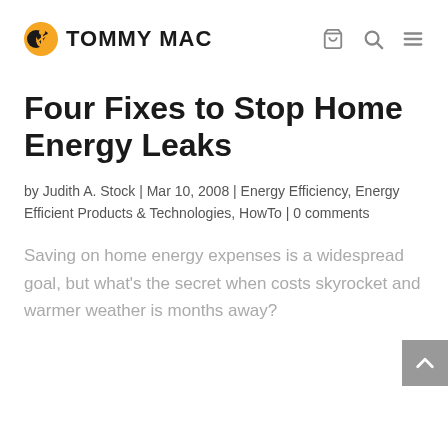TOMMY MAC
Four Fixes to Stop Home Energy Leaks
by Judith A. Stock | Mar 10, 2008 | Energy Efficiency, Energy Efficient Products & Technologies, HowTo | 0 comments
Saving on home energy expenses is a widespread goal, but what’s the secret when costs skyrocket and warmer weather is months away?